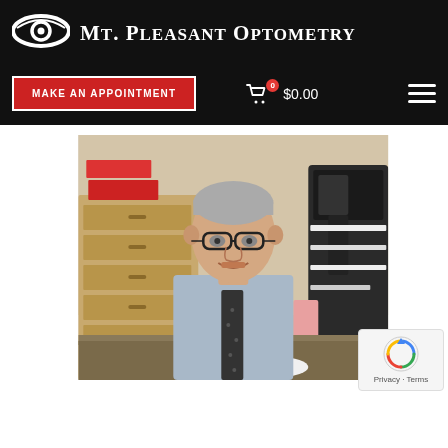Mt. Pleasant Optometry
[Figure (logo): Eye logo icon with white eye outline on black background]
MAKE AN APPOINTMENT
0 $0.00
[Figure (photo): Elderly male optometrist in a button-down shirt and tie wearing glasses, standing in an optometry office with equipment and wooden cabinet drawers in the background]
Privacy · Terms